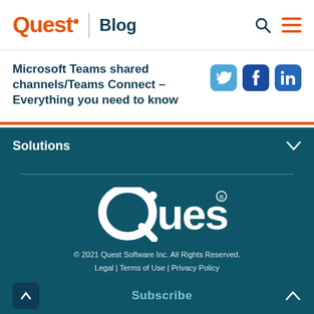Quest | Blog
Microsoft Teams shared channels/Teams Connect – Everything you need to know
Solutions
[Figure (logo): Quest white logo on dark teal background]
© 2021 Quest Software Inc. All Rights Reserved.
Legal | Terms of Use | Privacy Policy
Subscribe